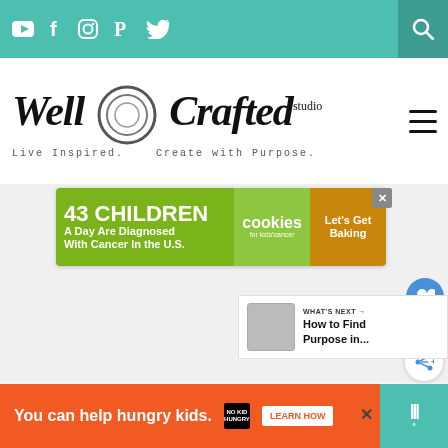Social icons: YouTube, Facebook, Instagram, Pinterest, Twitter; Search icon
Well Crafted Studio — Live Inspired. Create with Purpose.
[Figure (screenshot): Advertisement banner: 43 CHILDREN A Day Are Diagnosed With Cancer in the U.S. — cookies for kids cancer — Let's Get Baking]
[Figure (screenshot): Heart/like button showing 1 like, and share button]
[Figure (screenshot): WHAT'S NEXT → How to Find Purpose in... thumbnail navigation]
You can help hungry kids. NO KID HUNGRY LEARN HOW